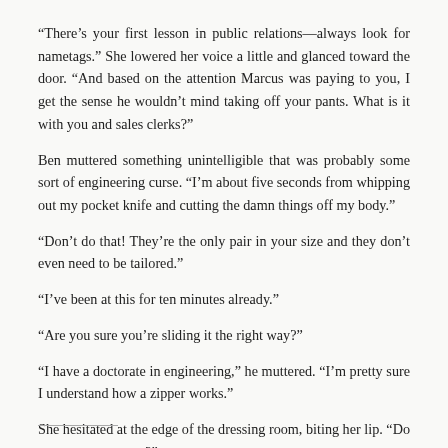“There’s your first lesson in public relations—always look for nametags.” She lowered her voice a little and glanced toward the door. “And based on the attention Marcus was paying to you, I get the sense he wouldn’t mind taking off your pants. What is it with you and sales clerks?”
Ben muttered something unintelligible that was probably some sort of engineering curse. “I’m about five seconds from whipping out my pocket knife and cutting the damn things off my body.”
“Don’t do that! They’re the only pair in your size and they don’t even need to be tailored.”
“I’ve been at this for ten minutes already.”
“Are you sure you’re sliding it the right way?”
“I have a doctorate in engineering,” he muttered. “I’m pretty sure I understand how a zipper works.”
She hesitated at the edge of the dressing room, biting her lip. “Do you want me to try?”